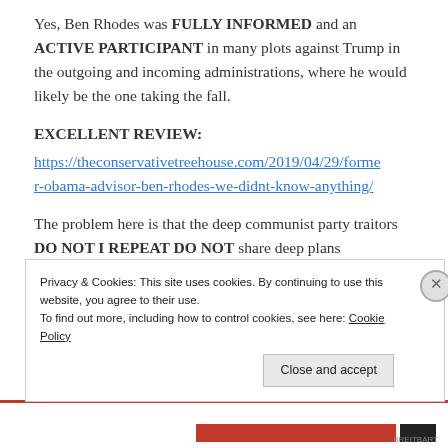Yes, Ben Rhodes was FULLY INFORMED and an ACTIVE PARTICIPANT in many plots against Trump in the outgoing and incoming administrations, where he would likely be the one taking the fall.
EXCELLENT REVIEW:
https://theconservativetreehouse.com/2019/04/29/former-obama-advisor-ben-rhodes-we-didnt-know-anything/
The problem here is that the deep communist party traitors DO NOT I REPEAT DO NOT share deep plans
Privacy & Cookies: This site uses cookies. By continuing to use this website, you agree to their use.
To find out more, including how to control cookies, see here: Cookie Policy
Close and accept